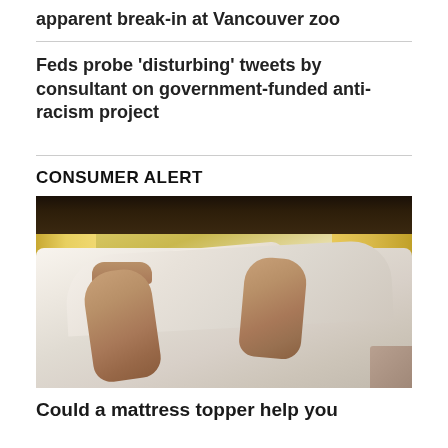apparent break-in at Vancouver zoo
Feds probe 'disturbing' tweets by consultant on government-funded anti-racism project
CONSUMER ALERT
[Figure (photo): Person sleeping in a bed with white sheets and blankets, feet visible at the bottom of the bed, warm yellow-lit room in the background]
Could a mattress topper help you